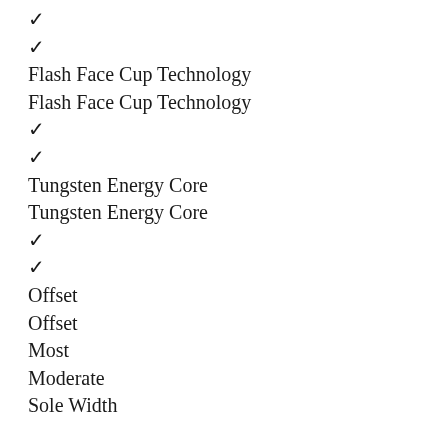✓
✓
Flash Face Cup Technology
Flash Face Cup Technology
✓
✓
Tungsten Energy Core
Tungsten Energy Core
✓
✓
Offset
Offset
Most
Moderate
Sole Width